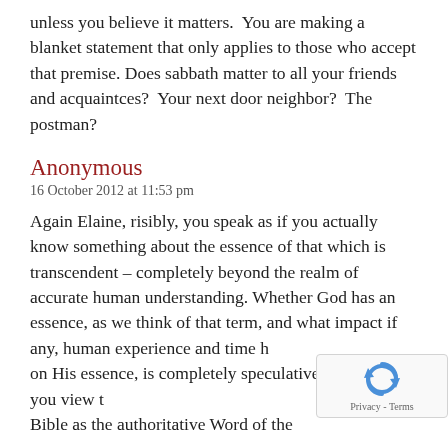unless you believe it matters.  You are making a blanket statement that only applies to those who accept that premise. Does sabbath matter to all your friends and acquaintces?  Your next door neighbor?  The postman?
Anonymous
16 October 2012 at 11:53 pm
Again Elaine, risibly, you speak as if you actually know something about the essence of that which is transcendent – completely beyond the realm of accurate human understanding. Whether God has an essence, as we think of that term, and what impact if any, human experience and time h on His essence, is completely speculative. I suppose if you view t Bible as the authoritative Word of the